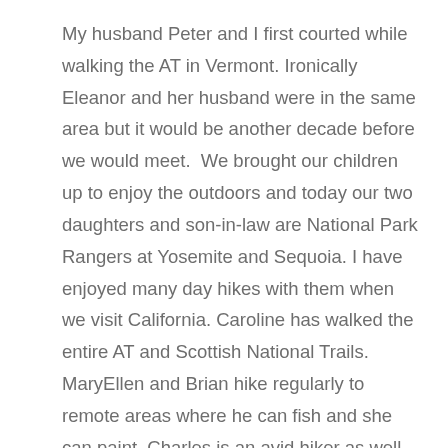My husband Peter and I first courted while walking the AT in Vermont. Ironically Eleanor and her husband were in the same area but it would be another decade before we would meet.  We brought our children up to enjoy the outdoors and today our two daughters and son-in-law are National Park Rangers at Yosemite and Sequoia. I have enjoyed many day hikes with them when we visit California. Caroline has walked the entire AT and Scottish National Trails. MaryEllen and Brian hike regularly to remote areas where he can fish and she can paint. Charles is an avid hiker as well but currently refurbishing a sailboat. I work as a Hospice Nurse and appreciate taking advantage of every moment.

It seems Eleanor and I are the only East Coasters